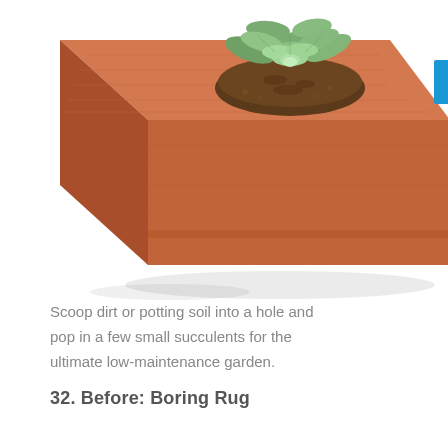[Figure (photo): Partial top-view photo of a terracotta/brick block with a small succulent plant planted in a hole at the top, against a white background. Only the upper portion of the brick planter is visible, cropped at the top of the page.]
Scoop dirt or potting soil into a hole and pop in a few small succulents for the ultimate low-maintenance garden.
32. Before: Boring Rug